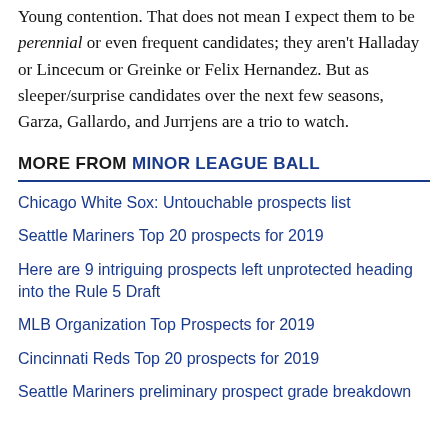Young contention. That does not mean I expect them to be perennial or even frequent candidates; they aren't Halladay or Lincecum or Greinke or Felix Hernandez. But as sleeper/surprise candidates over the next few seasons, Garza, Gallardo, and Jurrjens are a trio to watch.
MORE FROM MINOR LEAGUE BALL
Chicago White Sox: Untouchable prospects list
Seattle Mariners Top 20 prospects for 2019
Here are 9 intriguing prospects left unprotected heading into the Rule 5 Draft
MLB Organization Top Prospects for 2019
Cincinnati Reds Top 20 prospects for 2019
Seattle Mariners preliminary prospect grade breakdown